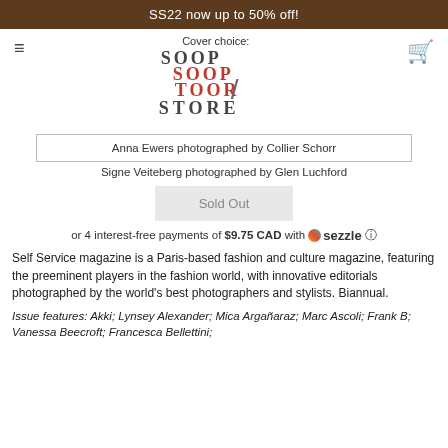SS22 now up to 50% off!
Cover choice:
Anna Ewers photographed by Collier Schorr
Signe Veiteberg photographed by Glen Luchford
Sold Out
or 4 interest-free payments of $9.75 CAD with ⓢ sezzle ⓘ
Self Service magazine is a Paris-based fashion and culture magazine, featuring the preeminent players in the fashion world, with innovative editorials photographed by the world's best photographers and stylists. Biannual.
Issue features: Akki; Lynsey Alexander; Mica Argañaraz; Marc Ascoli; Frank B; Vanessa Beecroft; Francesca Bellettini;